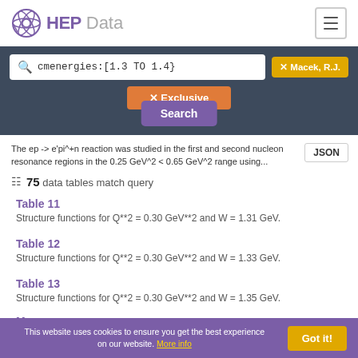[Figure (logo): HEPData logo with circular atom-like icon and text 'HEPData']
cmenergies:[1.3 TO 1.4}
✕ Macek, R.J.
✕ Exclusive
Search
The ep -> e'pi^+n reaction was studied in the first and second nucleon resonance regions in the 0.25 GeV^2 < 0.65 GeV^2 range using...
JSON
75 data tables match query
Table 11
Structure functions for Q**2 = 0.30 GeV**2 and W = 1.31 GeV.
Table 12
Structure functions for Q**2 = 0.30 GeV**2 and W = 1.33 GeV.
Table 13
Structure functions for Q**2 = 0.30 GeV**2 and W = 1.35 GeV.
More
This website uses cookies to ensure you get the best experience on our website. More info
Got it!